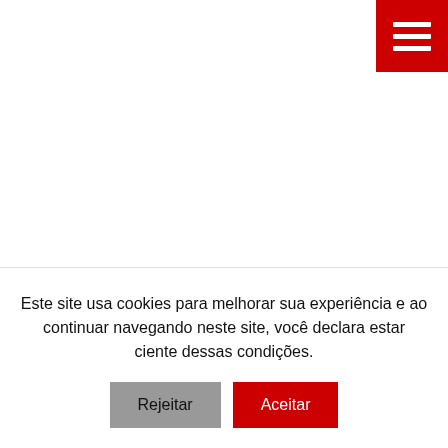[Figure (other): Red hamburger menu button in top-right corner with three white horizontal lines]
Charge do ÉTON
Este site usa cookies para melhorar sua experiência e ao continuar navegando neste site, você declara estar ciente dessas condições.
Rejeitar   Aceitar